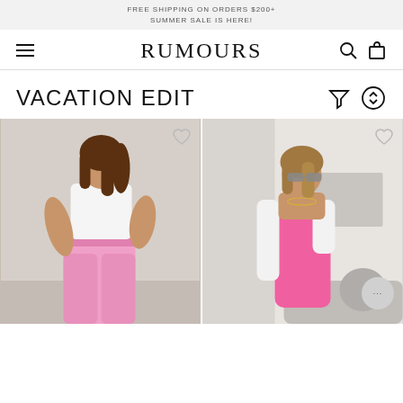FREE SHIPPING ON ORDERS $200+
SUMMER SALE IS HERE!
RUMOURS
VACATION EDIT
[Figure (photo): Woman in white crop top and pink trousers posing against a white wall]
[Figure (photo): Woman in pink bodycon mini dress with sunglasses and a white blazer, posing in a modern room]